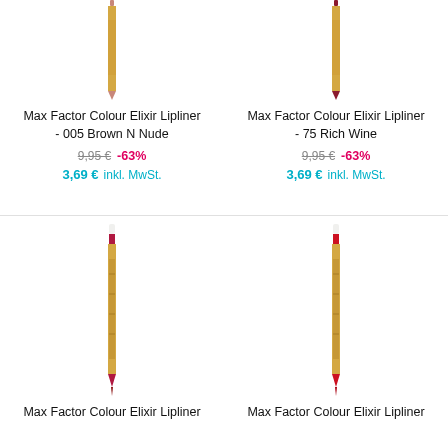[Figure (photo): Top portion of a Max Factor Colour Elixir Lipliner pencil in brownish-nude color]
Max Factor Colour Elixir Lipliner - 005 Brown N Nude
9,95 €  -63%
3,69 €  inkl. MwSt.
[Figure (photo): Top portion of a Max Factor Colour Elixir Lipliner pencil in rich wine/red color]
Max Factor Colour Elixir Lipliner - 75 Rich Wine
9,95 €  -63%
3,69 €  inkl. MwSt.
[Figure (photo): Full Max Factor Colour Elixir Lipliner pencil in crimson/wine color with gold barrel]
[Figure (photo): Full Max Factor Colour Elixir Lipliner pencil in red/wine color with gold barrel]
Max Factor Colour Elixir Lipliner
Max Factor Colour Elixir Lipliner